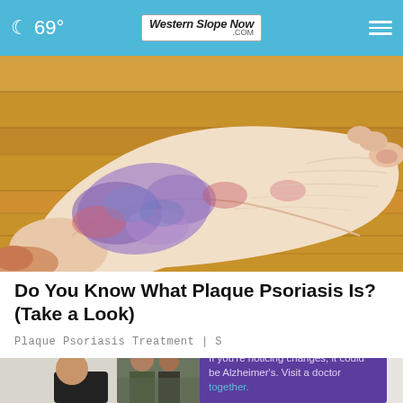69° Western Slope Now .com
[Figure (photo): Close-up photo of the bottom of a human foot showing psoriasis — purplish-blue and red scaly patches on pale dry skin, resting on a wooden surface]
Do You Know What Plaque Psoriasis Is? (Take a Look)
Plaque Psoriasis Treatment | S
[Figure (photo): Partially visible photo of two people (a younger and an older man) with an advertisement overlay reading: If you're noticing changes, it could be Alzheimer's. Visit a doctor together. The ad has a dark purple background and a dark circular X close button.]